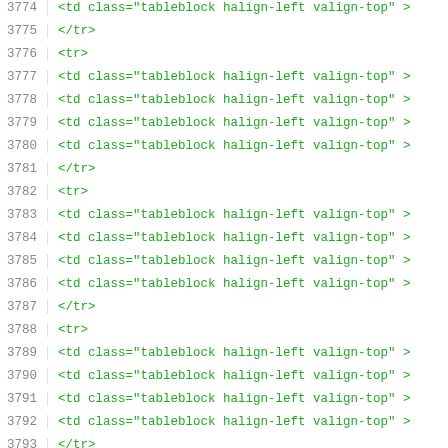3774   <td class="tableblock halign-left valign-top" >
3775   </tr>
3776   <tr>
3777   <td class="tableblock halign-left valign-top" >
3778   <td class="tableblock halign-left valign-top" >
3779   <td class="tableblock halign-left valign-top" >
3780   <td class="tableblock halign-left valign-top" >
3781   </tr>
3782   <tr>
3783   <td class="tableblock halign-left valign-top" >
3784   <td class="tableblock halign-left valign-top" >
3785   <td class="tableblock halign-left valign-top" >
3786   <td class="tableblock halign-left valign-top" >
3787   </tr>
3788   <tr>
3789   <td class="tableblock halign-left valign-top" >
3790   <td class="tableblock halign-left valign-top" >
3791   <td class="tableblock halign-left valign-top" >
3792   <td class="tableblock halign-left valign-top" >
3793   </tr>
3794   <tr>
3795   <td class="tableblock halign-left valign-top" >